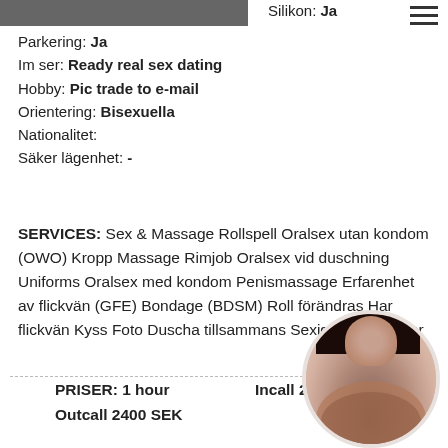Silikon: Ja
Parkering: Ja
Im ser: Ready real sex dating
Hobby: Pic trade to e-mail
Orientering: Bisexuella
Nationalitet:
Säker lägenhet: -
SERVICES: Sex & Massage Rollspell Oralsex utan kondom (OWO) Kropp Massage Rimjob Oralsex vid duschning Uniforms Oralsex med kondom Penismassage Erfarenhet av flickvän (GFE) Bondage (BDSM) Roll förändras Har flickvän Kyss Foto Duscha tillsammans Sexiga underkläder
PRISER: 1 hour
Outcall 2400 SEK
Incall 2500 SEK
[Figure (photo): Circular portrait photo of a woman]